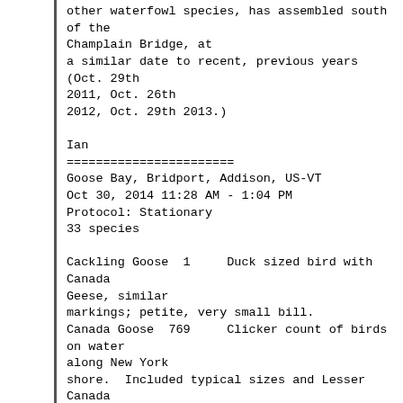other waterfowl species, has assembled south of the Champlain Bridge, at
a similar date to recent, previous years (Oct. 29th 2011, Oct. 26th
2012, Oct. 29th 2013.)

Ian
=======================
Goose Bay, Bridport, Addison, US-VT
Oct 30, 2014 11:28 AM - 1:04 PM
Protocol: Stationary
33 species

Cackling Goose  1     Duck sized bird with Canada Geese, similar
markings; petite, very small bill.
Canada Goose  769     Clicker count of birds on water along New York
shore.  Included typical sizes and Lesser Canada
sized birds.
American Black Duck  2
Mallard  66
Redhead  3     Males. Obvious red heads, black breasts, and whitish
flanks and saddle.  With Mallards and Canada Geese near New York shore.
Ring-necked Duck  1
Greater Scaup  200     All Scaup counted from photos by individuals,
yielding 1252.  From a few of the closest photos